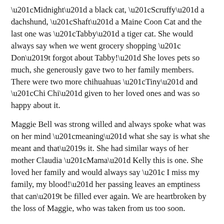“Midnight” a black cat, “Scruffy” a dachshund, “Shaft” a Maine Coon Cat and the last one was “Tabby” a tiger cat. She would always say when we went grocery shopping “ Don’t forgot about Tabby!” She loves pets so much, she generously gave two to her family members. There were two more chihuahuas “Tiny” and “Chi Chi” given to her loved ones and was so happy about it.
Maggie Bell was strong willed and always spoke what was on her mind “meaning” what she say is what she meant and that’s it. She had similar ways of her mother Claudia “Mama” Kelly this is one. She loved her family and would always say “ I miss my family, my blood!” her passing leaves an emptiness that can’t be filled ever again. We are heartbroken by the loss of Maggie, who was taken from us too soon.
She leave to mourn her brother Samuel Kelly from New Haven, Sister Ada Henderson From Rocky Mountain North Carolina, Grandson Leonard White and Wife Bonnie Taylor White; Granddaughter Sharon Moses Browne, Jayla Browne and Great Grandson Anthony Spencer; a host of many nieces, nephews and cousins from Connecticut, New York, New Jersey, Florida, North